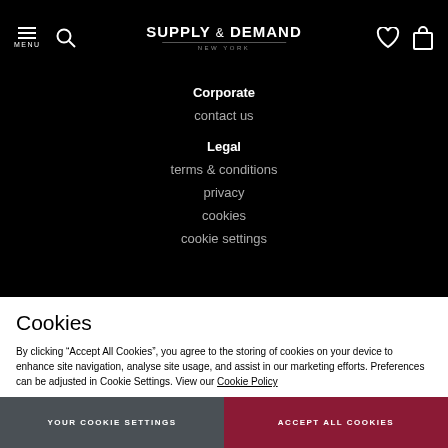SUPPLY & DEMAND NEW YORK — navigation bar with menu, search, wishlist, bag
Corporate
contact us
Legal
terms & conditions
privacy
cookies
cookie settings
Cookies
By clicking "Accept All Cookies", you agree to the storing of cookies on your device to enhance site navigation, analyse site usage, and assist in our marketing efforts. Preferences can be adjusted in Cookie Settings. View our Cookie Policy
YOUR COOKIE SETTINGS
ACCEPT ALL COOKIES